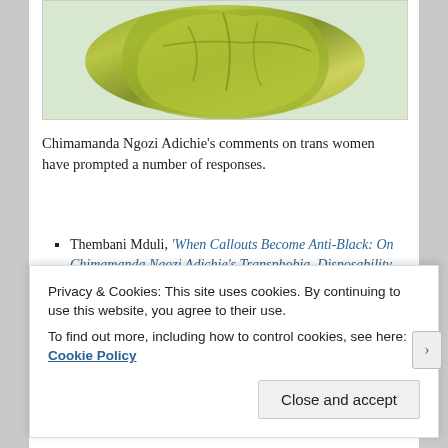[Figure (photo): Partial view of a shiny green/gold crumpled fabric or clothing item against a light background]
Chimamanda Ngozi Adichie's comments on trans women have prompted a number of responses.
Thembani Mduli, 'When Callouts Become Anti-Black: On Chimamanda Ngozi Adichie's Transphobia, Disposability Culture & British
Privacy & Cookies: This site uses cookies. By continuing to use this website, you agree to their use.
To find out more, including how to control cookies, see here: Cookie Policy
Close and accept